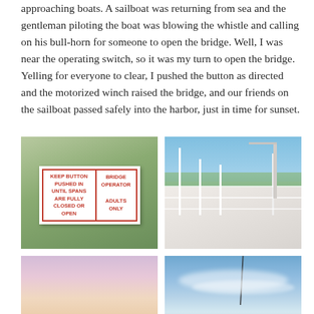approaching boats. A sailboat was returning from sea and the gentleman piloting the boat was blowing the whistle and calling on his bull-horn for someone to open the bridge. Well, I was near the operating switch, so it was my turn to open the bridge. Yelling for everyone to clear, I pushed the button as directed and the motorized winch raised the bridge, and our friends on the sailboat passed safely into the harbor, just in time for sunset.
[Figure (photo): Close-up of a white bridge sign with red text reading: KEEP BUTTON PUSHED IN UNTIL SPANS ARE FULLY CLOSED OR OPEN | BRIDGE OPERATOR ADULTS ONLY]
[Figure (photo): Outdoor photo of a white drawbridge/footbridge with railings, people visible on it, water and houses visible in the background, taken at golden hour]
[Figure (photo): Sky photo with pink and purple hues, sunset or dusk colors]
[Figure (photo): Sky photo with blue sky and wispy white clouds, fishing rod or antenna visible]